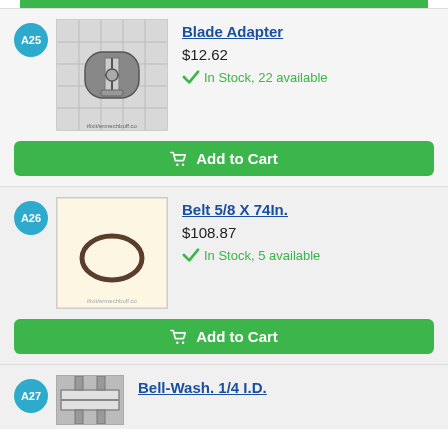[Figure (other): Green progress/top bar]
[Figure (other): Product A25: Blade Adapter - metal part with grid background photo]
Blade Adapter
$12.62
In Stock, 22 available
Add to Cart
[Figure (other): Product A26: Belt 5/8 X 74In. - oval rubber belt on cream background]
Belt 5/8 X 74In.
$108.87
In Stock, 5 available
Add to Cart
[Figure (other): Product A27: Bell-Wash. 1/4 I.D. - partial image visible]
Bell-Wash. 1/4 I.D.